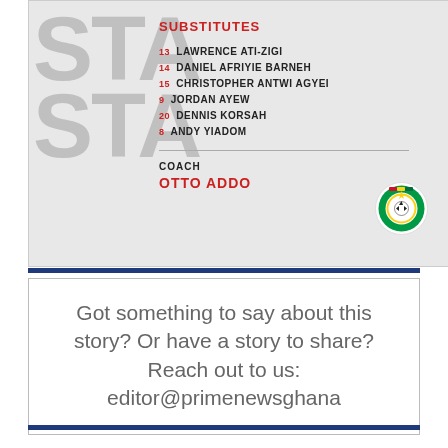[Figure (infographic): Ghana football team starting lineup card showing SUBSTITUTES section with players numbered 13-8: Lawrence Ati-Zigi, Daniel Afriyie Barneh, Christopher Antwi Agyei, Jordan Ayew, Dennis Korsah, Andy Yiadom. Coach: Otto Addo. Ghana Football Association badge visible. 'STAR' text watermark on left.]
Got something to say about this story? Or have a story to share? Reach out to us: editor@primenewsghana